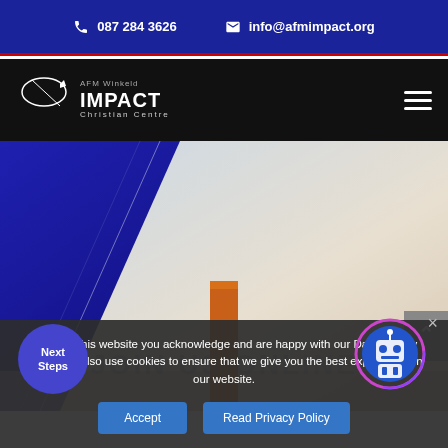087 284 3626  info@afmimpact.org
[Figure (logo): AFM Winkeld IMPACT Christian Centre logo with star graphic on dark nav bar]
[Figure (photo): Hero image: light sky background with orange rectangular pillar/column, diagonal dark blue shape overlay on left side]
By using this website you acknowledge and are happy with our Data privacy policy. We also use cookies to ensure that we give you the best experience on our website.
Accept
Read Privacy Policy
Next Steps